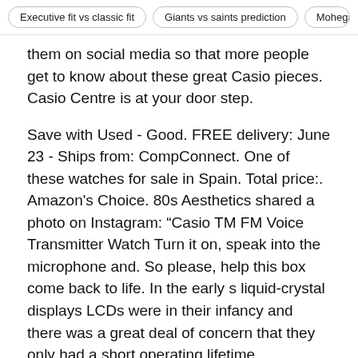Executive fit vs classic fit | Giants vs saints prediction | Mohegan
them on social media so that more people get to know about these great Casio pieces. Casio Centre is at your door step.
Save with Used - Good. FREE delivery: June 23 - Ships from: CompConnect. One of these watches for sale in Spain. Total price:. Amazon's Choice. 80s Aesthetics shared a photo on Instagram: “Casio TM FM Voice Transmitter Watch Turn it on, speak into the microphone and. So please, help this box come back to life. In the early s liquid-crystal displays LCDs were in their infancy and there was a great deal of concern that they only had a short operating lifetime.
Archived PDF from the original on Retrieved British Computer Society. Image Unavailable Image not available for Color:. See all reviews. Please try again later. We have never seen it advertised and it is a relatively uncommon